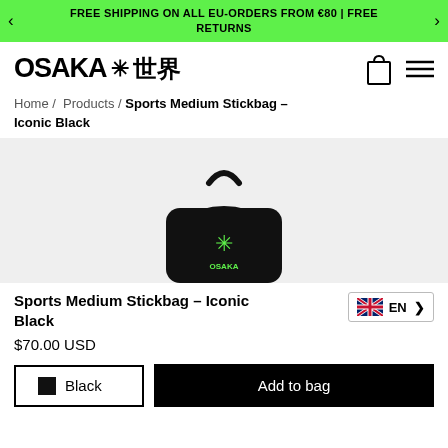FREE SHIPPING ON ALL EU-ORDERS FROM €80 | FREE RETURNS
[Figure (logo): Osaka logo with star and kanji characters 大阪 世界]
Home / Products / Sports Medium Stickbag - Iconic Black
[Figure (photo): Black sports stickbag with green Osaka logo on a light grey background]
Sports Medium Stickbag - Iconic Black
$70.00 USD
Black
Add to bag